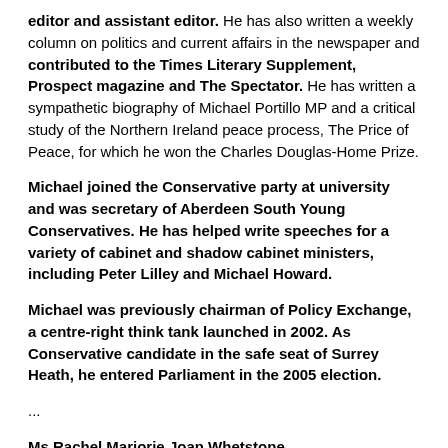editor and assistant editor. He has also written a weekly column on politics and current affairs in the newspaper and contributed to the Times Literary Supplement, Prospect magazine and The Spectator. He has written a sympathetic biography of Michael Portillo MP and a critical study of the Northern Ireland peace process, The Price of Peace, for which he won the Charles Douglas-Home Prize.
Michael joined the Conservative party at university and was secretary of Aberdeen South Young Conservatives. He has helped write speeches for a variety of cabinet and shadow cabinet ministers, including Peter Lilley and Michael Howard.
Michael was previously chairman of Policy Exchange, a centre-right think tank launched in 2002. As Conservative candidate in the safe seat of Surrey Heath, he entered Parliament in the 2005 election.
...
Ms Rachel Marjorie Joan Whetstone